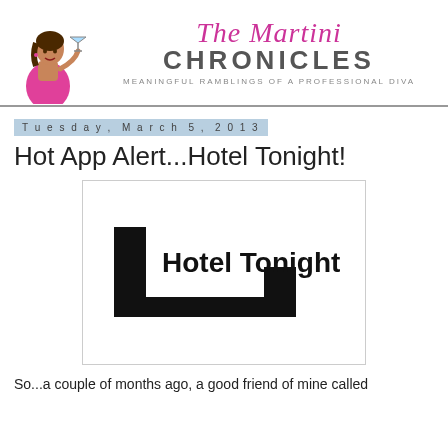[Figure (logo): The Martini Chronicles blog header with illustrated woman holding a martini glass and script/bold text logo with tagline 'Meaningful Ramblings of a Professional Diva']
Tuesday, March 5, 2013
Hot App Alert...Hotel Tonight!
[Figure (logo): Hotel Tonight app logo — H-shaped bed icon in black with 'Hotel Tonight' bold text to the right]
So...a couple of months ago, a good friend of mine called